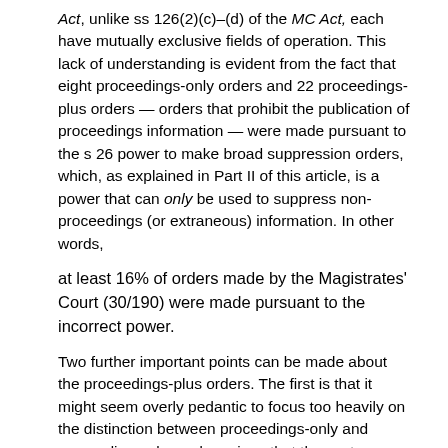Act, unlike ss 126(2)(c)–(d) of the MC Act, each have mutually exclusive fields of operation. This lack of understanding is evident from the fact that eight proceedings-only orders and 22 proceedings-plus orders — orders that prohibit the publication of proceedings information — were made pursuant to the s 26 power to make broad suppression orders, which, as explained in Part II of this article, is a power that can only be used to suppress non-proceedings (or extraneous) information. In other words,
at least 16% of orders made by the Magistrates' Court (30/190) were made pursuant to the incorrect power.
Two further important points can be made about the proceedings-plus orders. The first is that it might seem overly pedantic to focus too heavily on the distinction between proceedings-only and proceedings-plus orders given that the vast majority of proceedings-plus orders were likely intended to be proceedings-only orders, but have been expressed in ambiguous terms. This, however, is beside the point: the law is that suppression orders must be as unambiguous as possible.[89] The power in s 17 is clearly confined to the making of orders proscribing the publication of reports of proceedings, in whole or in part, or of information where it is derived from proceedings. It follows that any order made pursuant to that statutory